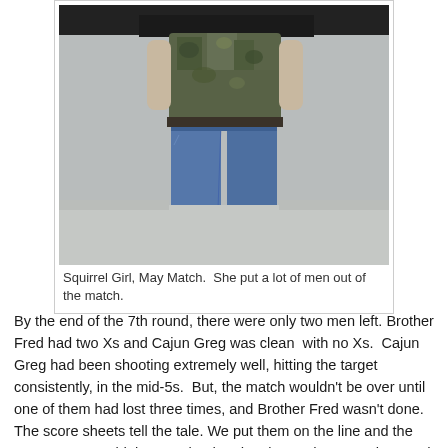[Figure (photo): Photo of a person (Squirrel Girl) standing in a camo shirt and blue jeans at a shooting range.]
Squirrel Girl, May Match.  She put a lot of men out of the match.
By the end of the 7th round, there were only two men left. Brother Fred had two Xs and Cajun Greg was clean  with no Xs.  Cajun Greg had been shooting extremely well, hitting the target consistently, in the mid-5s.  But, the match wouldn't be over until one of them had lost three times, and Brother Fred wasn't done.  The score sheets tell the tale.  We put them on the line and the rangemaster  told them to "load and make ready".    Brother Fred won that bout, giving Cajun Greg his first X.  So, the rangemaster made them change lanes and we did it again.  Brother Fred prevailed again.  Giving Greg his second X.  So, once again they